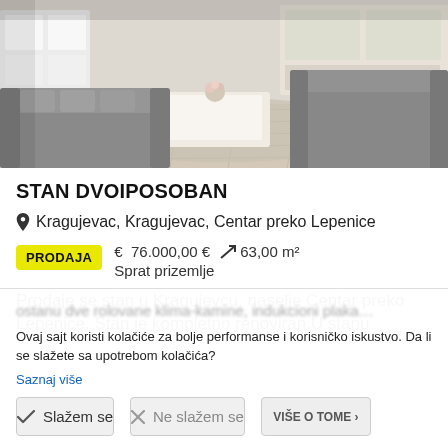[Figure (photo): Interior photo of a renovated living room with gray sofa, wooden coffee table, light hardwood floor, and white furniture in background]
STAN DVOIPOSOBAN
Kragujevac, Kragujevac, Centar preko Lepenice
PRODAJA   € 76.000,00 €   63,00 m²   Sprat prizemlje
Prodaje se stan u Kragujevcu, naselje Centar preko Lepenice. Stan je kompletno renoviran.U stanu
Ovaj sajt koristi kolačiće za bolje performanse i korisničko iskustvo. Da li se slažete sa upotrebom kolačića?
Saznaj više
Slažem se
Ne slažem se